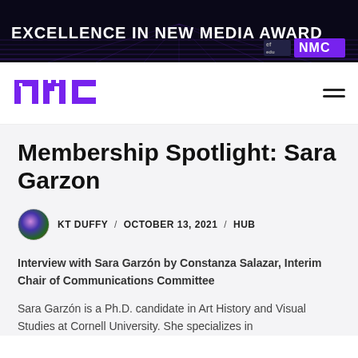[Figure (illustration): Dark banner with purple grid/horizon graphic and text 'EXCELLENCE IN NEW MEDIA AWARD' with EF and NMC logos on the right]
[Figure (logo): NMC logo in purple pixelated block letters on white navbar with hamburger menu icon]
Membership Spotlight: Sara Garzon
KT DUFFY / OCTOBER 13, 2021 / HUB
Interview with Sara Garzón by Constanza Salazar, Interim Chair of Communications Committee
Sara Garzón is a Ph.D. candidate in Art History and Visual Studies at Cornell University. She specializes in